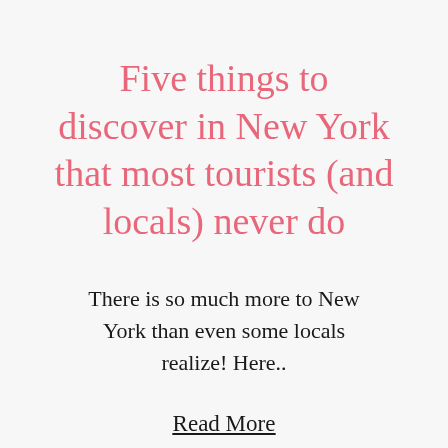Five things to discover in New York that most tourists (and locals) never do
There is so much more to New York than even some locals realize! Here..
Read More